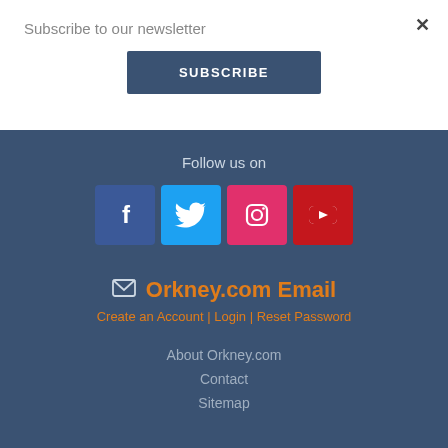Subscribe to our newsletter
×
SUBSCRIBE
Follow us on
[Figure (illustration): Four social media icons: Facebook (blue), Twitter (light blue), Instagram (pink/magenta), YouTube (red)]
✉ Orkney.com Email
Create an Account | Login | Reset Password
About Orkney.com
Contact
Sitemap